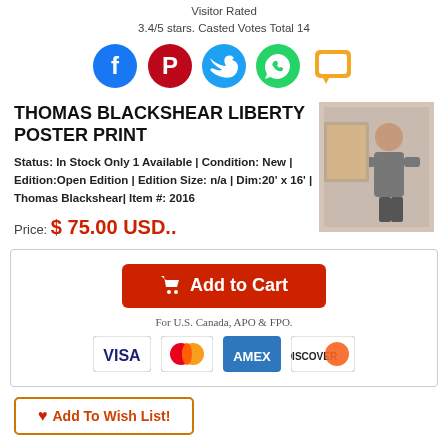Visitor Rated
3.4/5 stars. Casted Votes Total 14
[Figure (infographic): Social sharing icons: Facebook, Pinterest, Twitter, WhatsApp, Chat/Comment]
THOMAS BLACKSHEAR LIBERTY POSTER PRINT
[Figure (photo): Photo of Thomas Blackshear, artist, standing with artwork]
Status: In Stock Only 1 Available | Condition: New | Edition:Open Edition  | Edition Size: n/a | Dim:20' x 16' | Thomas Blackshear| Item #: 2016
Price:  $ 75.00 USD..
[Figure (infographic): Add to Cart button with cart icon, text 'For U.S. Canada, APO & FPO.', and credit card logos: VISA, Mastercard, AMEX, Discover]
Add To Wish List!